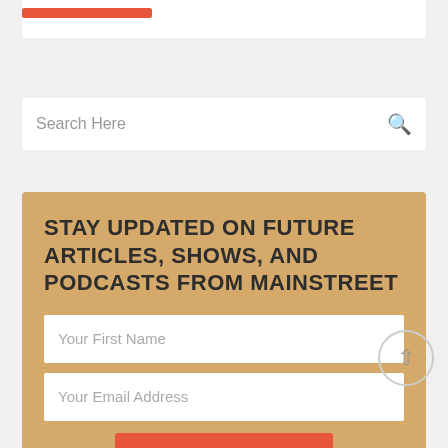[Figure (screenshot): Red bar/button element partially visible at top of white card]
Search Here
STAY UPDATED ON FUTURE ARTICLES, SHOWS, AND PODCASTS FROM MAINSTREET
Your First Name
Your Email Address
SUBSCRIBE